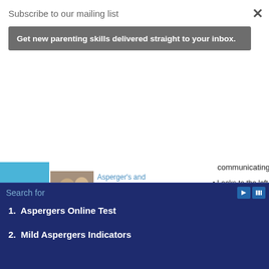Subscribe to our mailing list
Get new parenting skills delivered straight to your inbox.
communicating.
Looks to the left or
Does not turn to fa
Confronts another
Stands too close or
Smiles when some
Has tics or facial g
More resources for pare Functioning Autism:
==> Preventing Meltdo
[Figure (photo): Children playing together, Asperger's and High-Functioning Autism Fact Sheet for Teachers article thumbnail]
Asperger's and High-Functioning Autism: Fact Sheet for Teachers
To all parents of kids with Asperger's and High Functioning Autism: Below is a fact sheet that you can email (or hand-deliver a hardc...
[Figure (photo): Child in meltdown, Tantrums and Meltdowns in Kids with Autism Spectrum article thumbnail]
Tantrums and Meltdowns in Kids with Autism Spectrum
Search for
1.  Aspergers Online Test
2.  Mild Aspergers Indicators